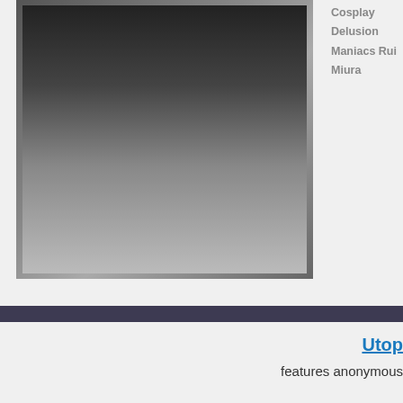[Figure (photo): DVD cover image showing a Japanese adult video cover with cosplay theme, featuring a woman in a red cheerleader costume]
Cosplay
Delusion
Maniacs Rui
Miura
Utop
features anonymous